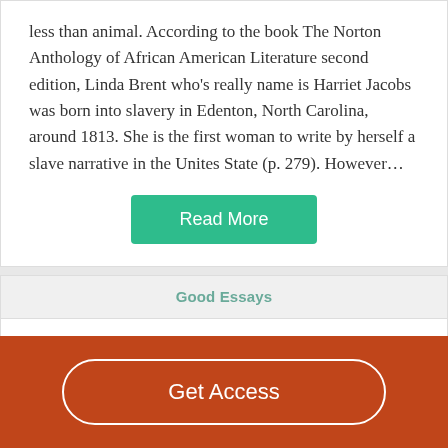less than animal. According to the book The Norton Anthology of African American Literature second edition, Linda Brent who’s really name is Harriet Jacobs was born into slavery in Edenton, North Carolina, around 1813. She is the first woman to write by herself a slave narrative in the Unites State (p. 279). However…
Read More
Good Essays
From Valiancy to Vengeance in Shakespeare´s Othello
Get Access